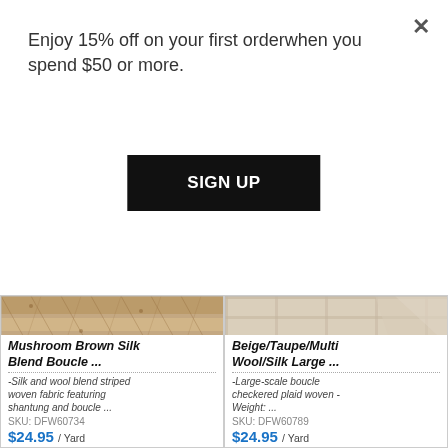Enjoy 15% off on your first orderwhen you spend $50 or more.
SIGN UP
[Figure (photo): Close-up of Mushroom Brown Silk Blend Boucle fabric showing striped woven texture with shantung and boucle]
Mushroom Brown Silk Blend Boucle ...
-Silk and wool blend striped woven fabric featuring shantung and boucle ...
SKU: DFW60734
$24.95 / Yard
[Figure (photo): Close-up of Beige/Taupe/Multi Wool/Silk Large fabric showing large-scale boucle checkered plaid woven texture]
Beige/Taupe/Multi Wool/Silk Large ...
-Large-scale boucle checkered plaid woven - Weight: ...
SKU: DFW60789
$24.95 / Yard